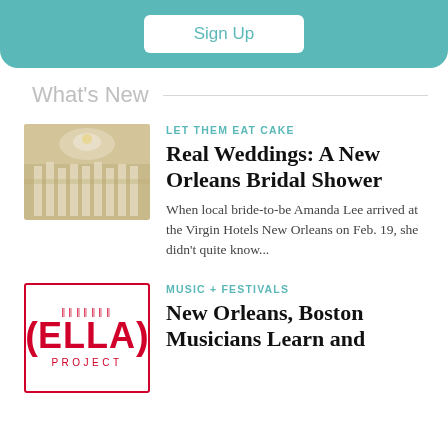[Figure (other): Teal/turquoise signup bar with a white 'Sign Up' button]
What's New
[Figure (photo): Wedding venue interior with white floral decorations and chairs]
LET THEM EAT CAKE
Real Weddings: A New Orleans Bridal Shower
When local bride-to-be Amanda Lee arrived at the Virgin Hotels New Orleans on Feb. 19, she didn't quite know...
[Figure (logo): Ella Project logo in red with parentheses and decorative bracket marks]
MUSIC + FESTIVALS
New Orleans, Boston Musicians Learn and